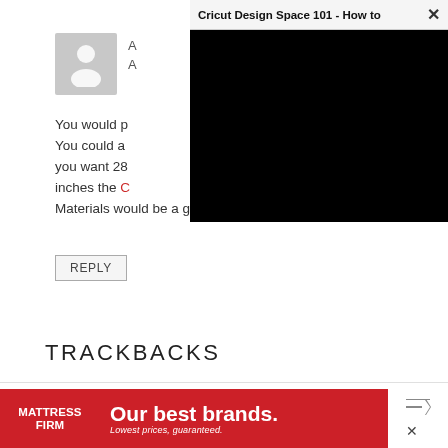[Figure (illustration): Gray user avatar placeholder image]
A
A
You would p
You could a
you want 28
inches the C
Materials would be a good choice for you.
REPLY
[Figure (screenshot): Popup overlay with title 'Cricut Design Space 101 - How to' and black video area with X close button]
TRACKBACKS
[Figure (other): Mattress Firm advertisement banner: logo on left with 'Our best brands. Lowest prices, guaranteed.' text on red background]